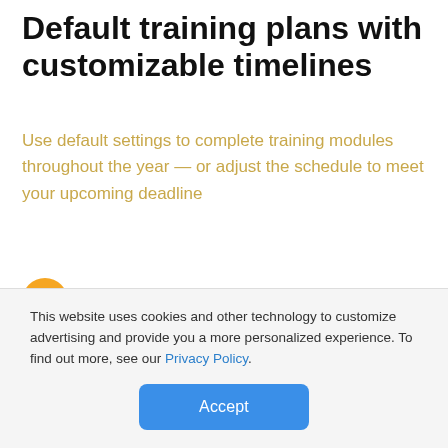Default training plans with customizable timelines
Use default settings to complete training modules throughout the year — or adjust the schedule to meet your upcoming deadline
[Figure (illustration): Orange circle with white checkmark icon]
Adjust completion timelines based on your reporting deadline or internal training schedule
This website uses cookies and other technology to customize advertising and provide you a more personalized experience. To find out more, see our Privacy Policy.
Accept